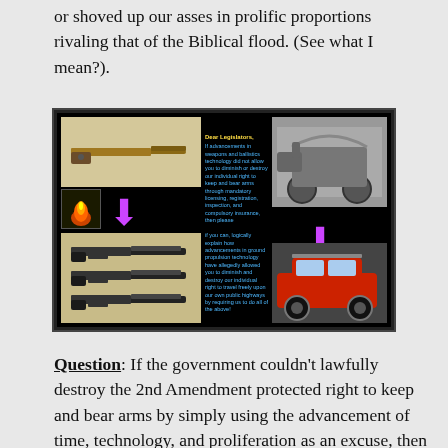or shoved up our asses in prolific proportions rivaling that of the Biblical flood. (See what I mean?).
[Figure (infographic): Black background infographic addressed 'Dear Legislators' comparing weapons/guns advancement (musket to assault rifles) with ground transportation (horse-drawn wagon to SUV), with purple arrows showing progression and blue italic text arguing against mandatory licensing, registration, inspection, and compulsory insurance on 2nd Amendment rights.]
Question: If the government couldn't lawfully destroy the 2nd Amendment protected right to keep and bear arms by simply using the advancement of time, technology, and proliferation as an excuse, then how could they use that same reasoning as the basis to destroy